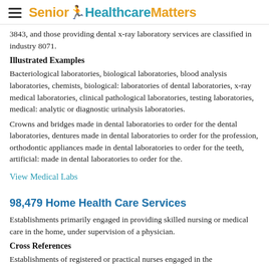Senior HealthcareMatters
3843, and those providing dental x-ray laboratory services are classified in industry 8071.
Illustrated Examples
Bacteriological laboratories, biological laboratories, blood analysis laboratories, chemists, biological: laboratories of dental laboratories, x-ray medical laboratories, clinical pathological laboratories, testing laboratories, medical: analytic or diagnostic urinalysis laboratories.
Crowns and bridges made in dental laboratories to order for the dental laboratories, dentures made in dental laboratories to order for the profession, orthodontic appliances made in dental laboratories to order for the teeth, artificial: made in dental laboratories to order for the.
View Medical Labs
98,479 Home Health Care Services
Establishments primarily engaged in providing skilled nursing or medical care in the home, under supervision of a physician.
Cross References
Establishments of registered or practical nurses engaged in the